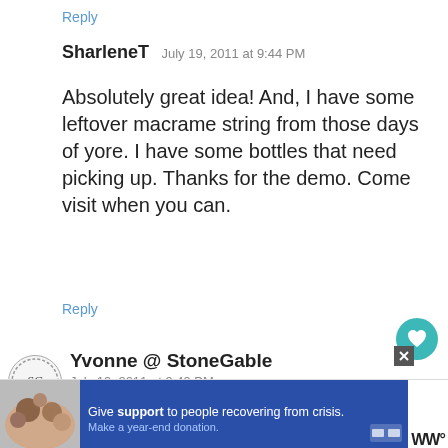Reply
SharleneT  July 19, 2011 at 9:44 PM
Absolutely great idea! And, I have some leftover macrame string from those days of yore. I have some bottles that need picking up. Thanks for the demo. Come visit when you can.
Reply
Yvonne @ StoneGable  July 19, 2011 at 9:49 PM
Susan, I remember those M days! This is a great tutorial. I bet this cover would look great on a glass ball
[Figure (infographic): What's Next overlay with image of blueberries and text 'How to Build a Blueberry...']
[Figure (infographic): Ad banner: Give support to people recovering from crisis. Make a year-end donation.]